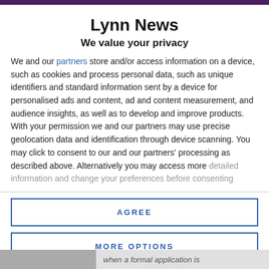Lynn News
We value your privacy
We and our partners store and/or access information on a device, such as cookies and process personal data, such as unique identifiers and standard information sent by a device for personalised ads and content, ad and content measurement, and audience insights, as well as to develop and improve products. With your permission we and our partners may use precise geolocation data and identification through device scanning. You may click to consent to our and our partners' processing as described above. Alternatively you may access more detailed information and change your preferences before consenting
AGREE
MORE OPTIONS
when a formal application is